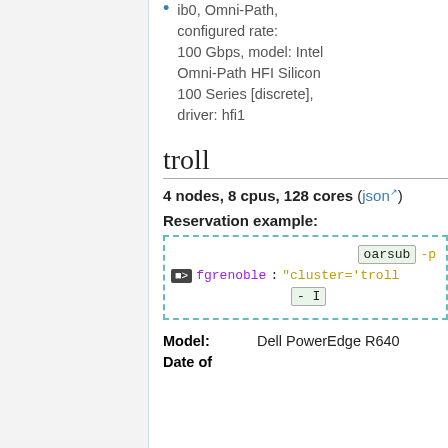ib0, Omni-Path, configured rate: 100 Gbps, model: Intel Omni-Path HFI Silicon 100 Series [discrete], driver: hfi1
troll
4 nodes, 8 cpus, 128 cores (json)
Reservation example:
oarsub -p fgrenoble : "cluster='troll - I
| Field | Value |
| --- | --- |
| Model: | Dell PowerEdge R640 |
| Date of |  |